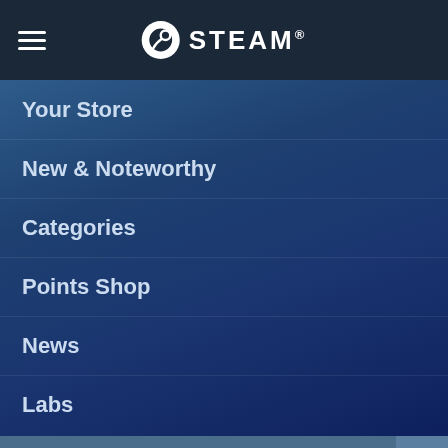STEAM
Your Store
New & Noteworthy
Categories
Points Shop
News
Labs
[Figure (screenshot): Steam mobile app navigation menu with hamburger icon, Steam logo, nav items (Your Store, New & Noteworthy, Categories, Points Shop, News, Labs), search bar, and a game banner for 'President for a Day']
[Figure (illustration): Game banner showing a serious-looking man with glasses and a crown-wearing character, with text 'PRESIDENT FOR A DAY' in bold stylized letters]